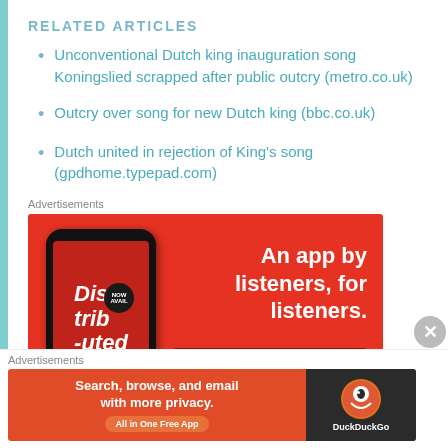RELATED ARTICLES
Unconventional Dutch king inauguration song Koningslied scrapped after public outcry (metro.co.uk)
Outcry over song for new Dutch king (bbc.co.uk)
Dutch united in rejection of King's song (gpdhome.typepad.com)
Advertisements
[Figure (photo): Red advertisement banner for a podcast/audio app called 'Distributed'. Shows a phone mockup on the left with 'Dis-trib-uted' text, and on the right: 'An app by listeners, for listeners.' with a 'Download now' button.]
Advertisements
[Figure (photo): Bottom advertisement bar for DuckDuckGo. Red background on left with text 'Search, browse, and email with more privacy. All in One Free App'. Dark right panel with DuckDuckGo logo and text.]